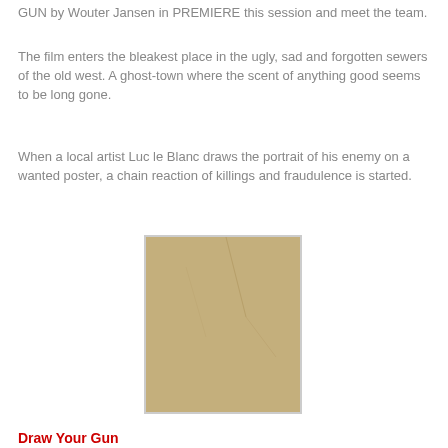GUN by Wouter Jansen in PREMIERE this session and meet the team.
The film enters the bleakest place in the ugly, sad and forgotten sewers of the old west. A ghost-town where the scent of anything good seems to be long gone.
When a local artist Luc le Blanc draws the portrait of his enemy on a wanted poster, a chain reaction of killings and fraudulence is started.
[Figure (illustration): Movie poster for 'Draw Your Gun' directed by Wouter Jansen. Old west wanted-poster style with distressed sepia/tan background, bold title text 'DRAW YOUR GUN', a sketch portrait of a man in a hat, director credit, and small cast/crew credits at the bottom.]
Draw Your Gun